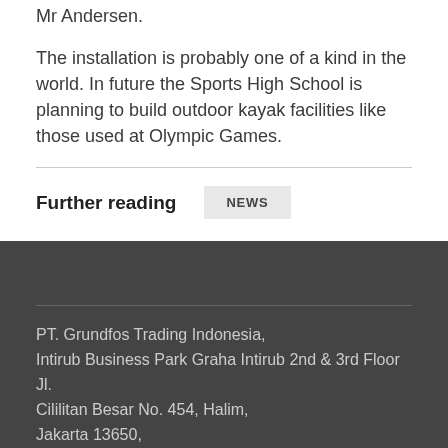Mr Andersen.
The installation is probably one of a kind in the world. In future the Sports High School is planning to build outdoor kayak facilities like those used at Olympic Games.
Further reading
NEWS
PT. Grundfos Trading Indonesia, Intirub Business Park Graha Intirub 2nd & 3rd Floor Jl. Cililitan Besar No. 454, Halim, Jakarta 13650,